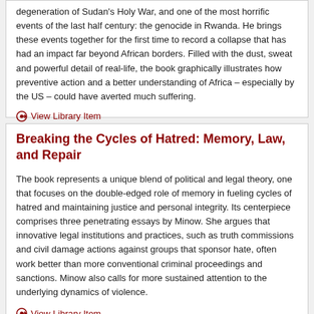degeneration of Sudan's Holy War, and one of the most horrific events of the last half century: the genocide in Rwanda. He brings these events together for the first time to record a collapse that has had an impact far beyond African borders. Filled with the dust, sweat and powerful detail of real-life, the book graphically illustrates how preventive action and a better understanding of Africa – especially by the US – could have averted much suffering.
View Library Item
Breaking the Cycles of Hatred: Memory, Law, and Repair
The book represents a unique blend of political and legal theory, one that focuses on the double-edged role of memory in fueling cycles of hatred and maintaining justice and personal integrity. Its centerpiece comprises three penetrating essays by Minow. She argues that innovative legal institutions and practices, such as truth commissions and civil damage actions against groups that sponsor hate, often work better than more conventional criminal proceedings and sanctions. Minow also calls for more sustained attention to the underlying dynamics of violence.
View Library Item